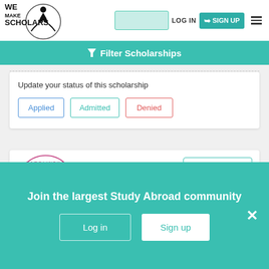[Figure (logo): We Make Scholars logo with figure and circle]
LOG IN  SIGN UP
Filter Scholarships
Update your status of this scholarship
Applied
Admitted
Denied
[Figure (logo): Karolinska Institutet circular seal/logo in pink/magenta]
Expires in
36 days
Join the largest Study Abroad community
Log in
Sign up